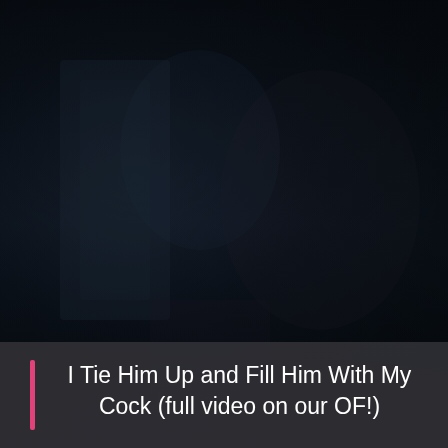[Figure (photo): Dark, dimly lit photograph with figures barely visible against a very dark background. The image is predominantly dark tones of navy, black, and dark teal.]
I Tie Him Up and Fill Him With My Cock (full video on our OF!)